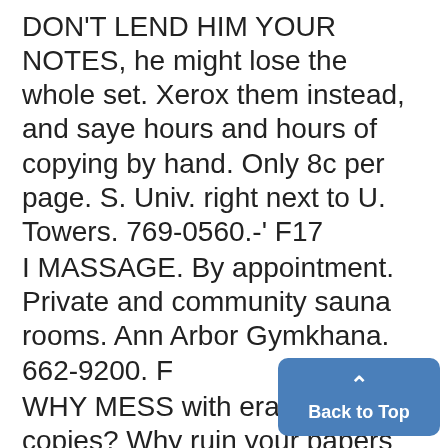DON'T LEND HIM YOUR NOTES, he might lose the whole set. Xerox them instead, and saye hours and hours of copying by hand. Only 8c per page. S. Univ. right next to U. Towers. 769-0560.-' F17
I MASSAGE. By appointment. Private and community sauna rooms. Ann Arbor Gymkhana. 662-9200. F
WHY MESS with erasing carbon copies? Why ruin your papers with smudges? Why not? Because you can now Xerox your original, at only per copy during business hours